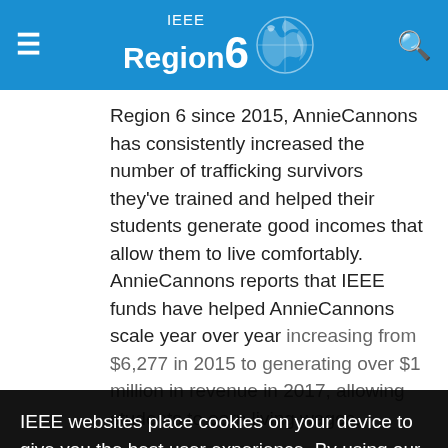IEEE Region 6
Region 6 since 2015, AnnieCannons has consistently increased the number of trafficking survivors they've trained and helped their students generate good incomes that allow them to live comfortably. AnnieCannons reports that IEEE funds have helped AnnieCannons scale year over year increasing from $6,277 in 2015 to generating over $1 million in revenue in 2017, allowing students to earn living wages. In 2018, AnnieCannons anticipates that client revenue will triple. One of their graduates has already generated $52,000 in development contracts in 2018, and continues to pursue advanced learning opportunities through their programs. In January, they signed a $50,000 mobile app development project where their top graduate has built the entire front-end been appointed 2018
IEEE websites place cookies on your device to give you the best user experience. By using our websites, you agree to the placement of these cookies. To learn more, read our Privacy Policy.
Accept & Close